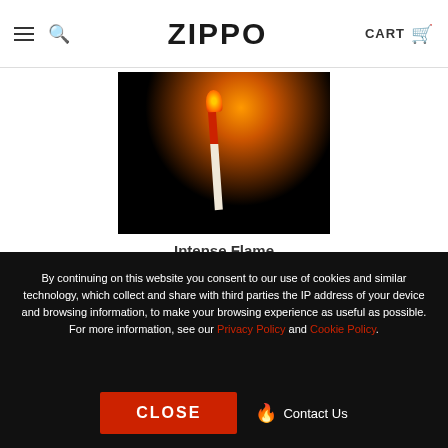ZIPPO  CART
[Figure (photo): A lit match with red tip against a dark/black background, showing an intense bright orange flame at the top]
Intense Flame
Our Typhoon Matches produce a hot and intense flame that is great in any survival situation.
By continuing on this website you consent to our use of cookies and similar technology, which collect and share with third parties the IP address of your device and browsing information, to make your browsing experience as useful as possible. For more information, see our Privacy Policy and Cookie Policy.
CLOSE    Contact Us